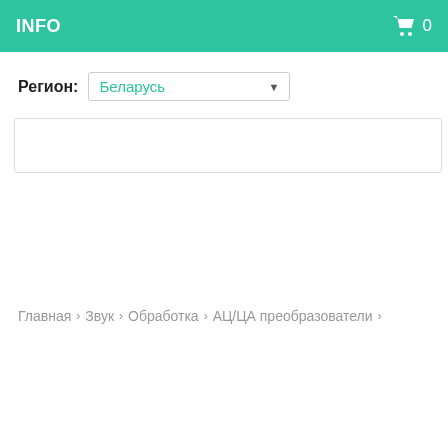INFO  🛒 0
Регион: Беларусь
[Figure (screenshot): Empty search input box with border]
Главная › Звук › Обработка › АЦ/ЦА преобразователи ›